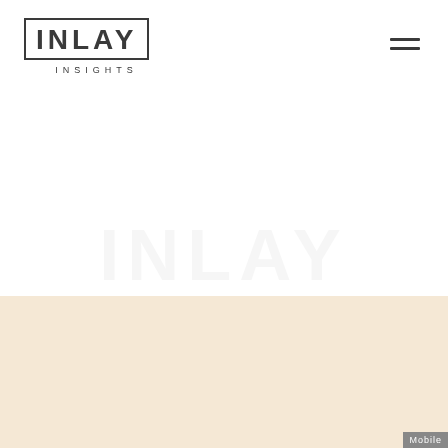[Figure (logo): INLAY INSIGHTS logo — the word INLAY in bold spaced lettering inside a rectangular border, with INSIGHTS in small caps below]
[Figure (other): Hamburger menu icon — three horizontal lines stacked]
[Figure (other): Faint watermark/background text area with very light gray text]
[Figure (other): Cream/beige colored bottom section background panel]
Mobile